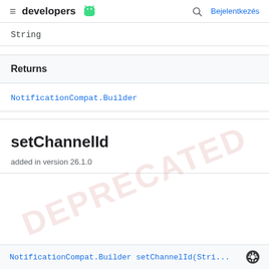developers | Bejelentkezés
String
Returns
NotificationCompat.Builder
setChannelId
added in version 26.1.0
NotificationCompat.Builder setChannelId(String ...